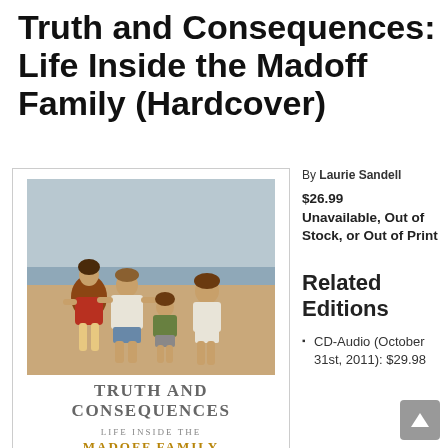Truth and Consequences: Life Inside the Madoff Family (Hardcover)
[Figure (photo): Book cover image showing a family photo on a beach with four people, overlaid with the book title 'Truth and Consequences: Life Inside the Madoff Family']
By Laurie Sandell
$26.99
Unavailable, Out of Stock, or Out of Print
Related Editions
CD-Audio (October 31st, 2011): $29.98